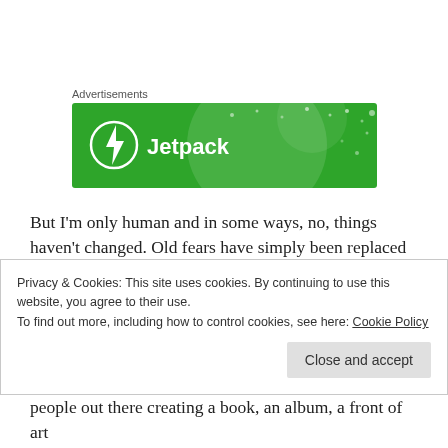[Figure (screenshot): Jetpack advertisement banner with green background, circular lightning bolt icon, and 'Jetpack' text in white]
But I'm only human and in some ways, no, things haven't changed. Old fears have simply been replaced by news ones – like, what if people don't like the book? What if I struggle writing book two? What if no one comes to my launch and I have to read to myself in a mirror (this was an actual recurring dream)? Etc. Etc.
Privacy & Cookies: This site uses cookies. By continuing to use this website, you agree to their use.
To find out more, including how to control cookies, see here: Cookie Policy
people out there creating a book, an album, a front of art